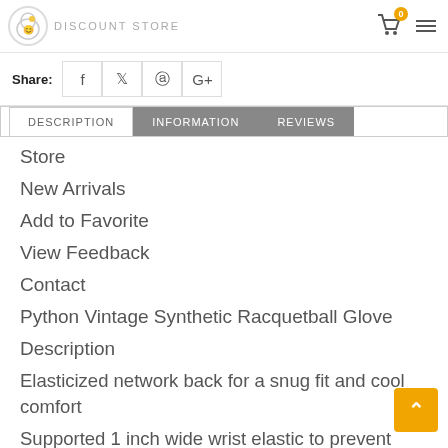DISCOUNT STORE
Share: f  Twitter  Pinterest  G+
DESCRIPTION  INFORMATION  REVIEWS
Store
New Arrivals
Add to Favorite
View Feedback
Contact
Python Vintage Synthetic Racquetball Glove
Description
Elasticized network back for a snug fit and cool comfort
Supported 1 inch wide wrist elastic to prevent riding up